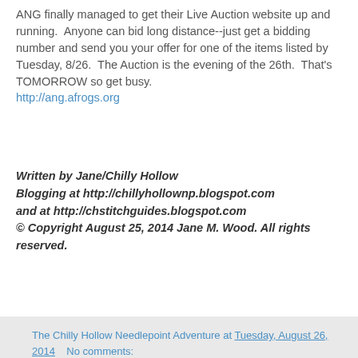ANG finally managed to get their Live Auction website up and running.  Anyone can bid long distance--just get a bidding number and send you your offer for one of the items listed by Tuesday, 8/26.  The Auction is the evening of the 26th.  That's TOMORROW so get busy. http://ang.afrogs.org
Written by Jane/Chilly Hollow
Blogging at http://chillyhollownp.blogspot.com
and at http://chstitchguides.blogspot.com
© Copyright August 25, 2014 Jane M. Wood. All rights reserved.
The Chilly Hollow Needlepoint Adventure at Tuesday, August 26, 2014    No comments:
At the Museum
The owner of The Nimble Needle has been visiting the